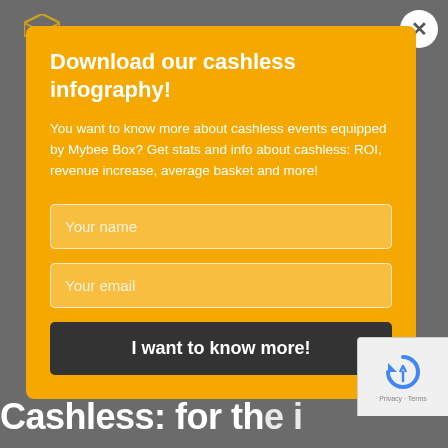[Figure (logo): Mybee Box logo - hexagon envelope icon in dark/gold]
Download our cashless infography!
You want to know more about cashless events equipped by Mybee Box? Get stats and info about cashless: ROI, revenue increase, average basket and more!
Your name
Your email
I want to know more!
Cashless: for the i...